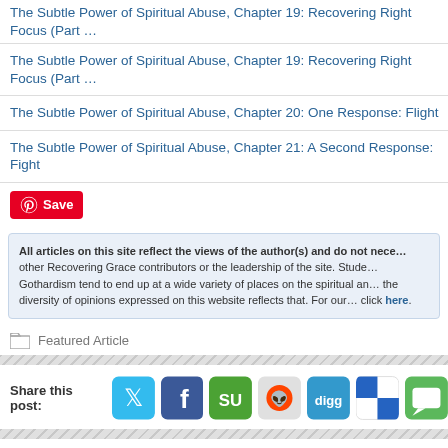The Subtle Power of Spiritual Abuse, Chapter 19: Recovering Right Focus (Part …
The Subtle Power of Spiritual Abuse, Chapter 19: Recovering Right Focus (Part …
The Subtle Power of Spiritual Abuse, Chapter 20: One Response: Flight
The Subtle Power of Spiritual Abuse, Chapter 21: A Second Response: Fight
[Figure (other): Pinterest Save button in red]
All articles on this site reflect the views of the author(s) and do not nece… other Recovering Grace contributors or the leadership of the site. Stude… Gothardism tend to end up at a wide variety of places on the spiritual an… the diversity of opinions expressed on this website reflects that. For our… click here.
Featured Article
Share this post: